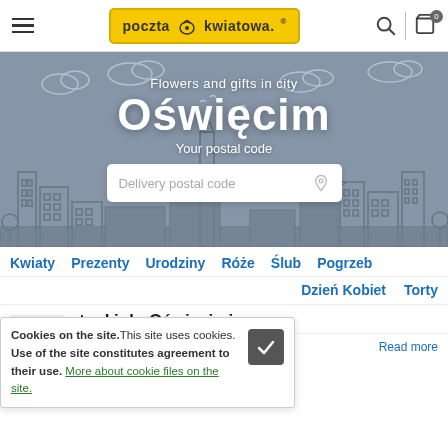[Figure (screenshot): Poczta Kwiatowa website header with logo, hamburger menu, search and cart icons]
[Figure (illustration): Hero banner with city skyline illustration in grey/blue tones, text overlay: 'Flowers and gifts in city', large white text 'Oświęcim', 'Your postal code', and a delivery postal code input field]
Kwiaty
Prezenty
Urodziny
Róże
Ślub
Pogrzeb
Dzień Kobiet
Torty
ntynki do Oświęcimia
Prezent z okazji Walentynek dla Twojej dziewczyn   Read more
Cookies on the site. This site uses cookies. Use of the site constitutes agreement to their use. More about cookie files on the site.